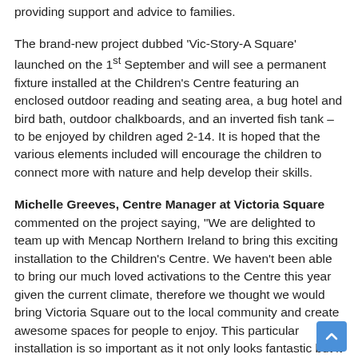providing support and advice to families.
The brand-new project dubbed 'Vic-Story-A Square' launched on the 1st September and will see a permanent fixture installed at the Children's Centre featuring an enclosed outdoor reading and seating area, a bug hotel and bird bath, outdoor chalkboards, and an inverted fish tank – to be enjoyed by children aged 2-14. It is hoped that the various elements included will encourage the children to connect more with nature and help develop their skills.
Michelle Greeves, Centre Manager at Victoria Square commented on the project saying, "We are delighted to team up with Mencap Northern Ireland to bring this exciting installation to the Children's Centre. We haven't been able to bring our much loved activations to the Centre this year given the current climate, therefore we thought we would bring Victoria Square out to the local community and create awesome spaces for people to enjoy. This particular installation is so important as it not only looks fantastic but it actually will help significantly to provide a sens